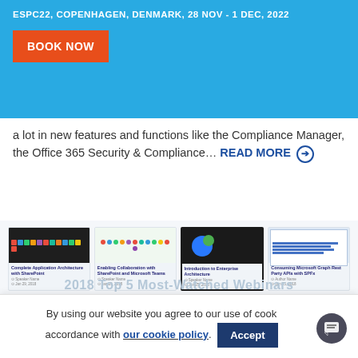ESPC22, COPENHAGEN, DENMARK, 28 NOV - 1 DEC, 2022
[Figure (screenshot): BOOK NOW button on blue banner]
a lot in new features and functions like the Compliance Manager, the Office 365 Security & Compliance… READ MORE ➔
[Figure (screenshot): Grid of 8 thumbnail cards showing webinar/article previews including topics: Complete Application Architecture with SharePoint, Enabling Collaboration with SharePoint and Microsoft Teams, Introduction to Enterprise Architecture, Connecting Microsoft Graph Rest Party APIs with SPFx, and others. 2018 Top 5 Most-Watched Webinars text visible at bottom.]
By using our website you agree to our use of cookies in accordance with our cookie policy.
Accept